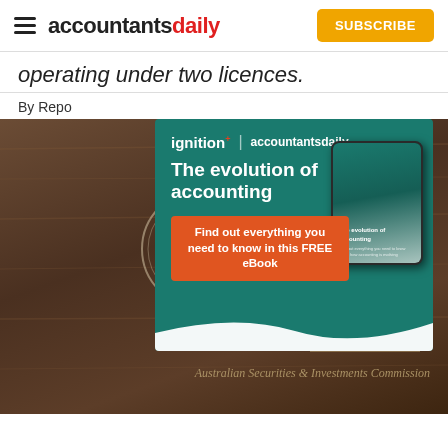accountantsdaily — SUBSCRIBE
operating under two licences.
By Repo
[Figure (advertisement): Ignition x accountantsdaily advertisement banner with teal background. Shows 'The evolution of accounting' headline, 'Find out everything you need to know in this FREE eBook' CTA button in orange, and a tablet device image on the right showing the ebook cover.]
[Figure (photo): Close-up photo of a wooden plaque or sign showing the Australian coat of arms with 'AUSTRALIA' text below it, and to the right the text 'ASIC' and 'Australian Securities & Investments Commission' in gold/cream lettering on dark wood.]